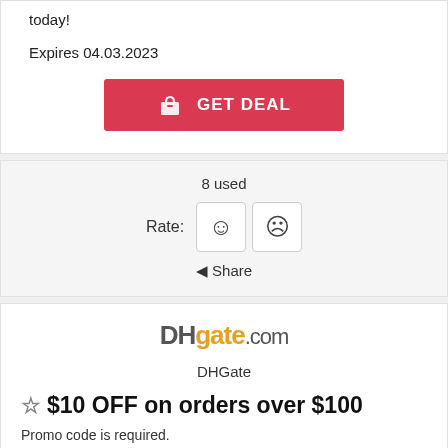today!
Expires 04.03.2023
[Figure (other): GET DEAL button with shopping bag icon, red/pink background]
8 used
Rate: ☺ ☹
◀ Share
[Figure (logo): DHgate.com logo with DH in dark gray and gate in yellow/orange]
DHGate
☆ $10 OFF on orders over $100
Promo code is required.
Expires 04.03.2023